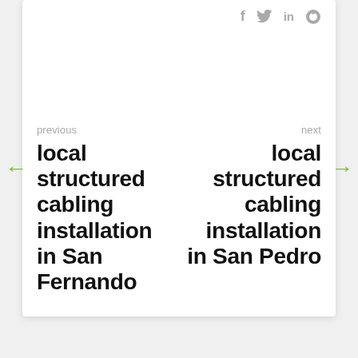[Figure (other): Social media share icons: Facebook (f), Twitter (bird), LinkedIn (in), Reddit (alien)]
previous
local structured cabling installation in San Fernando
next
local structured cabling installation in San Pedro